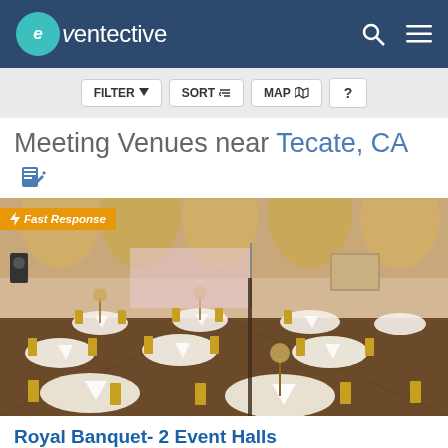eventective - header with search and menu icons
FILTER  SORT  MAP  ?
Meeting Venues near Tecate, CA
[Figure (photo): Interior of Royal Banquet hall showing elegantly decorated event space with gold chiavari chairs, round tables with white linens and folded napkins, floral centerpieces, and draped walls in background. Fast Response badge in orange top-left corner.]
Royal Banquet- 2 Event Halls
Serving the Tecate, CA Area